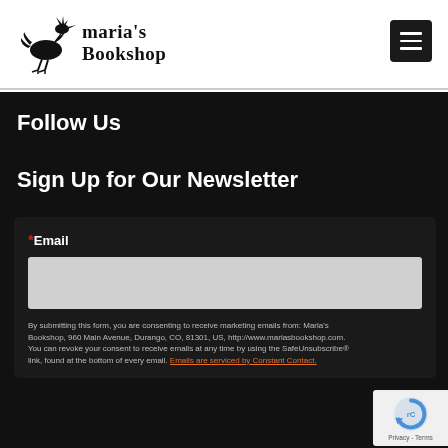[Figure (logo): Maria's Bookshop logo with bird illustration and text]
Follow Us
Sign Up for Our Newsletter
*Email
By submitting this form, you are consenting to receive marketing emails from: Maria's Bookshop, 960 Main Avenue, Durango, CO, 81301, US, http://www.mariasbookshop.com. You can revoke your consent to receive emails at any time by using the SafeUnsubscribe® link, found at the bottom of every email. Emails are serviced by Constant Contact.